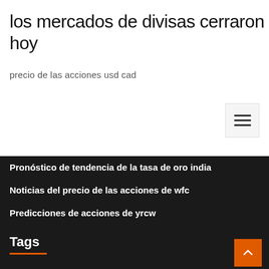los mercados de divisas cerraron hoy
precio de las acciones usd cad
Pronóstico de tendencia de la tasa de oro india
Noticias del precio de las acciones de wfc
Predicciones de acciones de yrcw
Tags
Negocio de productos comerciales
Lumen-digital stock.adobe.com
Pronóstico de acciones de tti
Últimas noticias de cifrado ahora